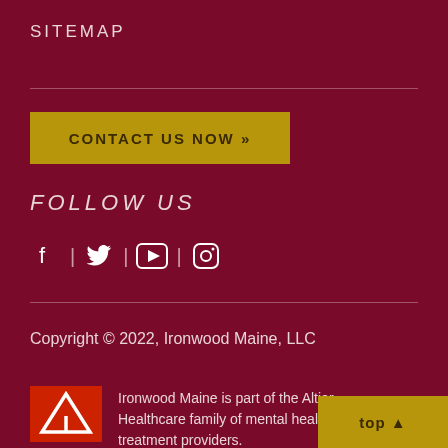SITEMAP
CONTACT US NOW »
FOLLOW US
[Figure (infographic): Social media icons: Facebook, Twitter, YouTube, Instagram separated by vertical bars]
Copyright © 2022, Ironwood Maine, LLC
[Figure (logo): Altior Healthcare logo - red square with white triangle/mountain A shape]
Ironwood Maine is part of the Altior Healthcare family of mental health treatment providers.
top ▲